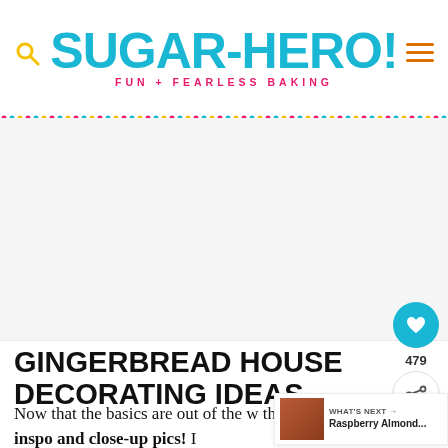SugarHero! FUN + FEARLESS BAKING
GINGERBREAD HOUSE DECORATING IDEAS
Now that the basics are out of the way, it's time for the fun part—style inspo and close-up pics! I